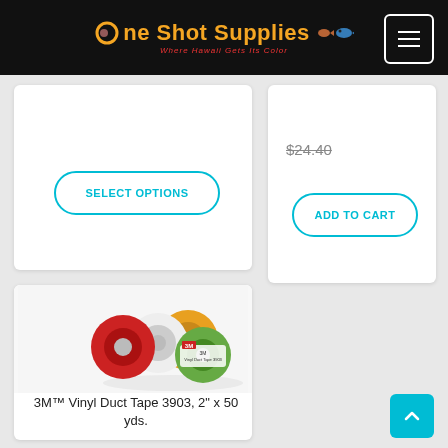One Shot Supplies — Where Hawaii Gets Its Color
$24.40
SELECT OPTIONS
ADD TO CART
[Figure (photo): 3M Vinyl Duct Tape 3903 product photo showing multiple rolls of tape in red, white, yellow colors with one roll showing green label]
3M™ Vinyl Duct Tape 3903, 2" x 50 yds.